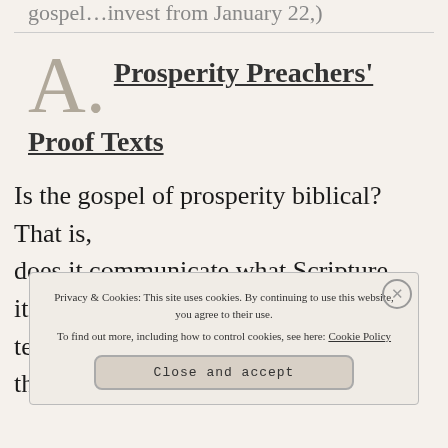gospel…invest from January 22,
A. Prosperity Preachers' Proof Texts
Is the gospel of prosperity biblical? That is, does it communicate what Scripture itself te… th…
Privacy & Cookies: This site uses cookies. By continuing to use this website, you agree to their use. To find out more, including how to control cookies, see here: Cookie Policy
Close and accept